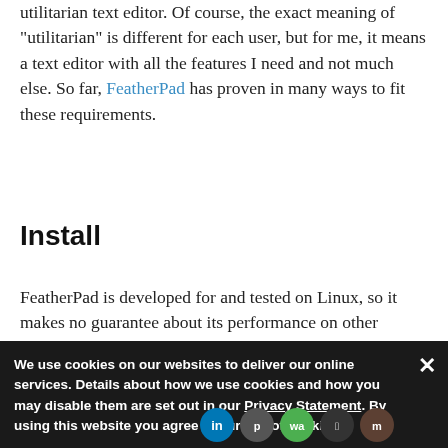utilitarian text editor. Of course, the exact meaning of "utilitarian" is different for each user, but for me, it means a text editor with all the features I need and not much else. So far, FeatherPad has proven in many ways to fit these requirements.
Install
FeatherPad is developed for and tested on Linux, so it makes no guarantee about its performance on other platforms. On Linux, you can install it from your distribution's software repository or directly from source code found on its Github repository.
We use cookies on our websites to deliver our online services. Details about how we use cookies and how you may disable them are set out in our Privacy Statement. By using this website you agree to our use of cookies.